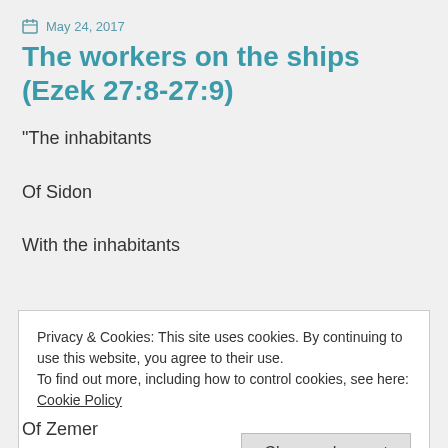May 24, 2017
The workers on the ships (Ezek 27:8-27:9)
“The inhabitants
Of Sidon
With the inhabitants
Privacy & Cookies: This site uses cookies. By continuing to use this website, you agree to their use.
To find out more, including how to control cookies, see here: Cookie Policy
Of Zemer